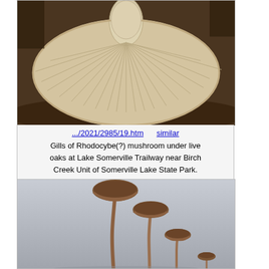[Figure (photo): Close-up photo of gills of a Rhodocybe(?) mushroom viewed from below, showing radial gill pattern, creamy/tan color, on a dark natural background]
.../2021/2985/19.htm    similar
Gills of Rhodocybe(?) mushroom under live oaks at Lake Somerville Trailway near Birch Creek Unit of Somerville Lake State Park. Texas, July 17, 2021
[Figure (photo): Photo of three brown mushrooms with slender stalks and rounded caps against a gray background, of varying heights]